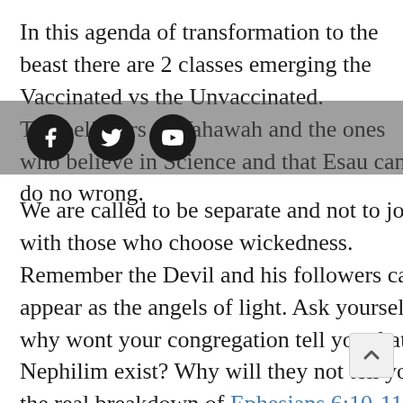In this agenda of transformation to the beast there are 2 classes emerging the Vaccinated vs the Unvaccinated. The believers of Yahawah and the ones who believe in Science and that Esau can do no wrong.
[Figure (infographic): Social media share overlay with Facebook, Twitter, and YouTube circular icons on a semi-transparent dark background bar]
We are called to be separate and not to join with those who choose wickedness. Remember the Devil and his followers can appear as the angels of light. Ask yourself why wont your congregation tell you that Nephilim exist? Why will they not tell you the real breakdown of Ephesians 6:10-11 and how these are not flesh and blood enemies we fight? Even Christ warned you as in the days of Noah (Matthew 24). Yes the fallen ones are back